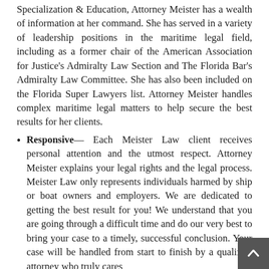Specialization & Education, Attorney Meister has a wealth of information at her command. She has served in a variety of leadership positions in the maritime legal field, including as a former chair of the American Association for Justice's Admiralty Law Section and The Florida Bar's Admiralty Law Committee. She has also been included on the Florida Super Lawyers list. Attorney Meister handles complex maritime legal matters to help secure the best results for her clients.
Responsive— Each Meister Law client receives personal attention and the utmost respect. Attorney Meister explains your legal rights and the legal process. Meister Law only represents individuals harmed by ship or boat owners and employers. We are dedicated to getting the best result for you! We understand that you are going through a difficult time and do our very best to bring your case to a timely, successful conclusion. Your case will be handled from start to finish by a qualified attorney who truly cares